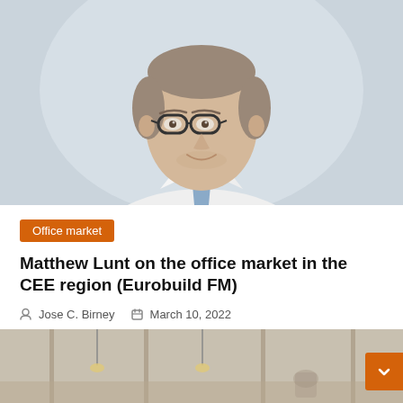[Figure (photo): Professional headshot of Matthew Lunt — man in white shirt and blue tie, wearing glasses, smiling, blurred office background]
Office market
Matthew Lunt on the office market in the CEE region (Eurobuild FM)
Jose C. Birney   March 10, 2022
[Figure (photo): Partial interior photo of an office or atrium space visible at the bottom of the page]